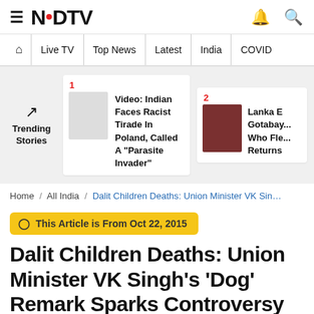NDTV
☰ | 🔔 🔍
🏠 | Live TV | Top News | Latest | India | COVID
[Figure (screenshot): Trending Stories section with two cards: 1) Video: Indian Faces Racist Tirade In Poland, Called A 'Parasite Invader' and 2) Lanka E... Gotabay... Who Fle... Returns]
Home / All India / Dalit Children Deaths: Union Minister VK Sin…
This Article is From Oct 22, 2015
Dalit Children Deaths: Union Minister VK Singh's 'Dog' Remark Sparks Controversy